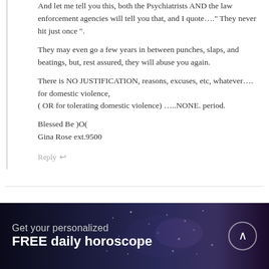And let me tell you this, both the Psychiatrists AND the law enforcement agencies will tell you that, and I quote...." They never hit just once ". They may even go a few years in between punches, slaps, and beatings, but, rest assured, they will abuse you again.

There is NO JUSTIFICATION, reasons, excuses, etc, whatever.... for domestic violence, ( OR for tolerating domestic violence) .....NONE. period.

Blessed Be )O(
Gina Rose ext.9500
Reply
Leave a Reply to Peace   Cancel reply
Get your personalized FREE daily horoscope